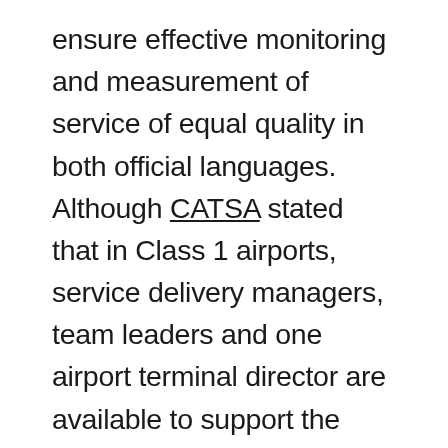ensure effective monitoring and measurement of service of equal quality in both official languages. Although CATSA stated that in Class 1 airports, service delivery managers, team leaders and one airport terminal director are available to support the performance officers as needed and to increase the bilingual capacity of the performance officers, the job description for a performance officer clearly outlines the monitoring role through observation of the service provider's operational performance. Furthermore, CATSA has